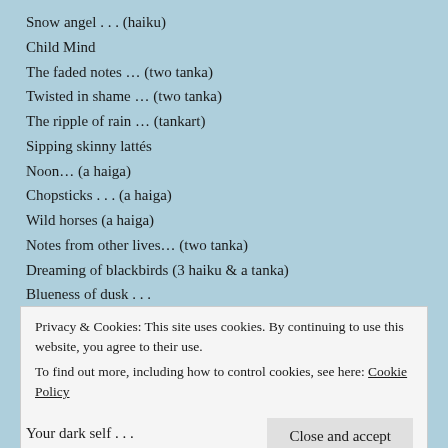Snow angel . . . (haiku)
Child Mind
The faded notes … (two tanka)
Twisted in shame … (two tanka)
The ripple of rain … (tankart)
Sipping skinny lattés
Noon… (a haiga)
Chopsticks . . . (a haiga)
Wild horses (a haiga)
Notes from other lives… (two tanka)
Dreaming of blackbirds (3 haiku & a tanka)
Blueness of dusk . . .
Wild Strawberries (a responsive tanka sequence)
Privacy & Cookies: This site uses cookies. By continuing to use this website, you agree to their use. To find out more, including how to control cookies, see here: Cookie Policy
Your dark self . . .